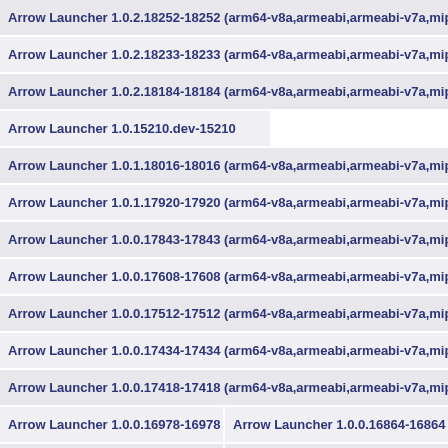Arrow Launcher 1.0.2.18252-18252 (arm64-v8a,armeabi,armeabi-v7a,mips,mi...
Arrow Launcher 1.0.2.18233-18233 (arm64-v8a,armeabi,armeabi-v7a,mips,mi...
Arrow Launcher 1.0.2.18184-18184 (arm64-v8a,armeabi,armeabi-v7a,mips,mi...
Arrow Launcher 1.0.15210.dev-15210
Arrow Launcher 1.0.1.18016-18016 (arm64-v8a,armeabi,armeabi-v7a,mips,mi...
Arrow Launcher 1.0.1.17920-17920 (arm64-v8a,armeabi,armeabi-v7a,mips,mi...
Arrow Launcher 1.0.0.17843-17843 (arm64-v8a,armeabi,armeabi-v7a,mips,mi...
Arrow Launcher 1.0.0.17608-17608 (arm64-v8a,armeabi,armeabi-v7a,mips,mi...
Arrow Launcher 1.0.0.17512-17512 (arm64-v8a,armeabi,armeabi-v7a,mips,mi...
Arrow Launcher 1.0.0.17434-17434 (arm64-v8a,armeabi,armeabi-v7a,mips,mi...
Arrow Launcher 1.0.0.17418-17418 (arm64-v8a,armeabi,armeabi-v7a,mips,mi...
Arrow Launcher 1.0.0.16978-16978
Arrow Launcher 1.0.0.16864-16864
Arrow Launcher 1.0.0.16572-16572
Arrow Launcher 1.0.0.16352-16352
Arrow Launcher 1.0.0.15760-15760
Arrow Launcher 1.0.0.15715-15715